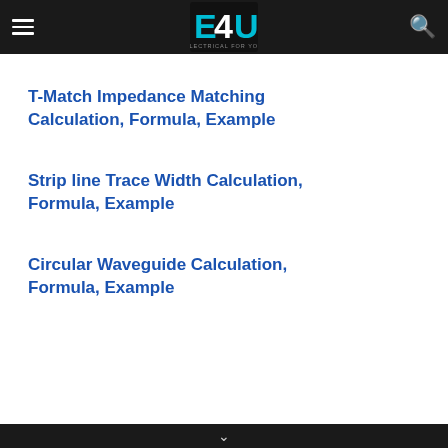E4U - ELECTRICAL FOR YOU
T-Match Impedance Matching Calculation, Formula, Example
Strip line Trace Width Calculation, Formula, Example
Circular Waveguide Calculation, Formula, Example